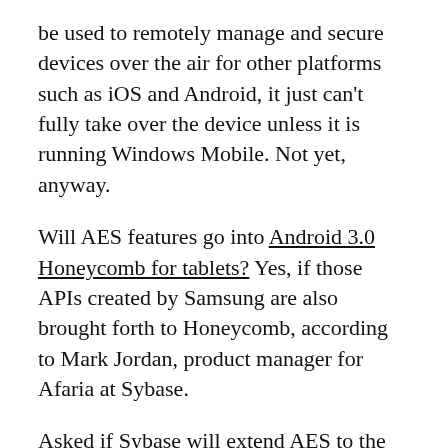be used to remotely manage and secure devices over the air for other platforms such as iOS and Android, it just can't fully take over the device unless it is running Windows Mobile. Not yet, anyway.
Will AES features go into Android 3.0 Honeycomb for tablets? Yes, if those APIs created by Samsung are also brought forth to Honeycomb, according to Mark Jordan, product manager for Afaria at Sybase.
Asked if Sybase will extend AES to the Motorola Xoom and other devices, Sybase says that is contigent on device makers investing in the same engineering API work as Samsung. But stay tuned...